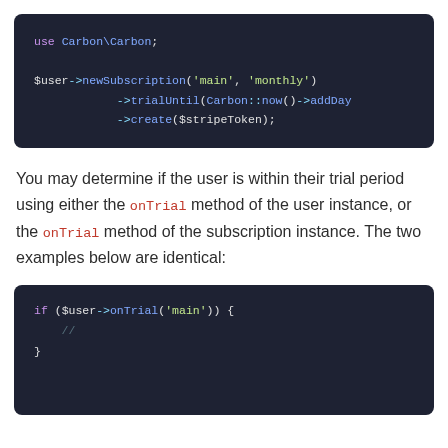[Figure (screenshot): Code block showing PHP: use Carbon\Carbon; $user->newSubscription('main', 'monthly') ->trialUntil(Carbon::now()->addDay ->create($stripeToken);]
You may determine if the user is within their trial period using either the onTrial method of the user instance, or the onTrial method of the subscription instance. The two examples below are identical:
[Figure (screenshot): Code block showing PHP: if ($user->onTrial('main')) { // }]